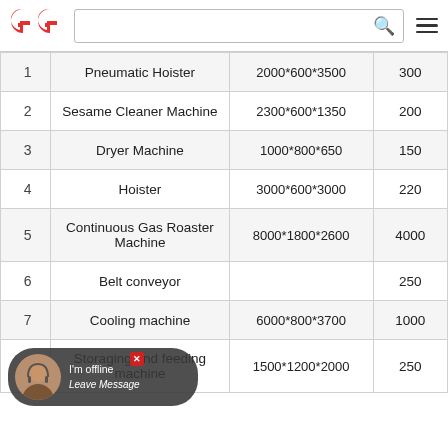GG logo, search bar, hamburger menu
| # | Name | Dimensions | Weight(kg) |
| --- | --- | --- | --- |
| 1 | Pneumatic Hoister | 2000*600*3500 | 300 |
| 2 | Sesame Cleaner Machine | 2300*600*1350 | 200 |
| 3 | Dryer Machine | 1000*800*650 | 150 |
| 4 | Hoister | 3000*600*3000 | 220 |
| 5 | Continuous Gas Roaster Machine | 8000*1800*2600 | 4000 |
| 6 | Belt conveyor |  | 250 |
| 7 | Cooling machine | 6000*800*3700 | 1000 |
| 8 | Storaging and feeding machine | 1500*1200*2000 | 250 |
[Figure (photo): Live chat widget overlay showing avatar of a customer service representative with text 'I'm offline, Leave Message']